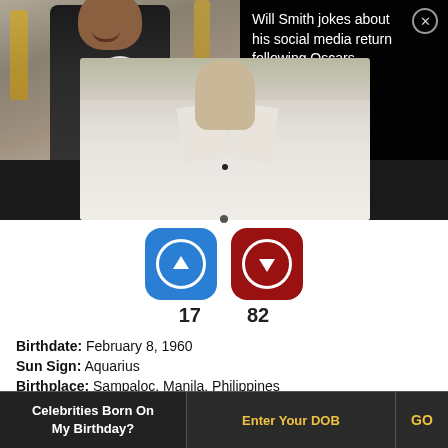[Figure (screenshot): Video thumbnail showing a man in a black suit at a red carpet event, with a play button overlay. A dark overlay on the right shows news headline: 'Will Smith jokes about his social media return following Oscars controversy' with a close button.]
[Figure (photo): Close-up photo of a person wearing a white barong/formal shirt.]
17    82
Birthdate: February 8, 1960
Sun Sign: Aquarius
Birthplace: Sampaloc, Manila, Philippines
Celebrities Born On My Birthday?  Enter Your DOB  GO